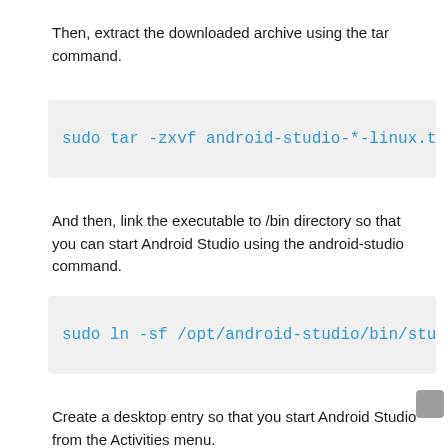Then, extract the downloaded archive using the tar command.
sudo tar -zxvf android-studio-*-linux.ta
And then, link the executable to /bin directory so that you can start Android Studio using the android-studio command.
sudo ln -sf /opt/android-studio/bin/stud
Create a desktop entry so that you start Android Studio from the Activities menu.
sudo nano /usr/share/applications/androi